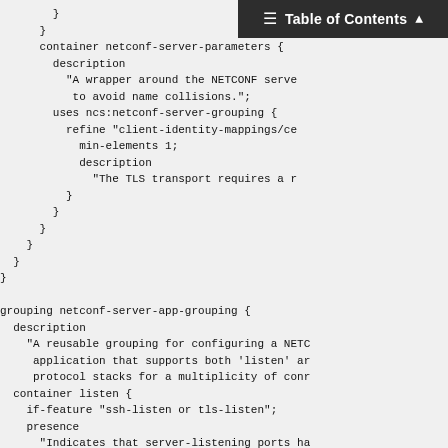Table of Contents
}
      }
      container netconf-server-parameters {
        description
          "A wrapper around the NETCONF serve
           to avoid name collisions.";
        uses ncs:netconf-server-grouping {
          refine "client-identity-mappings/ce
            min-elements 1;
            description
              "The TLS transport requires a r
          }
        }
      }
    }
  }
}

grouping netconf-server-app-grouping {
  description
    "A reusable grouping for configuring a NETC
     application that supports both 'listen' ar
     protocol stacks for a multiplicity of conr
  container listen {
    if-feature "ssh-listen or tls-listen";
    presence
      "Indicates that server-listening ports ha
       This statement is present so the mandate
       nodes do not imply that this node must b